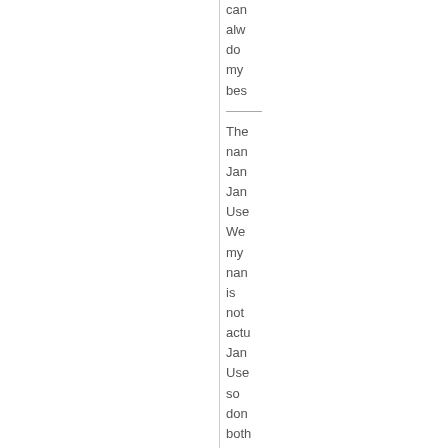can always do my best
The name Jan Jan Username We my name is not actually Jan Username so don't both actually look it up, but it'll